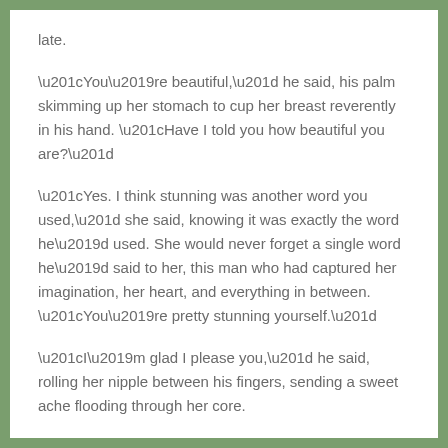late.
“You’re beautiful,” he said, his palm skimming up her stomach to cup her breast reverently in his hand. “Have I told you how beautiful you are?”
“Yes. I think stunning was another word you used,” she said, knowing it was exactly the word he’d used. She would never forget a single word he’d said to her, this man who had captured her imagination, her heart, and everything in between. “You’re pretty stunning yourself.”
“I’m glad I please you,” he said, rolling her nipple between his fingers, sending a sweet ache flooding through her core.